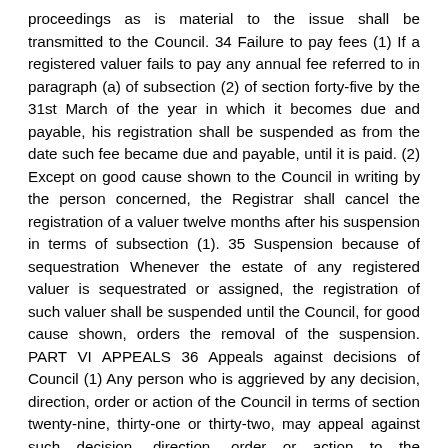proceedings as is material to the issue shall be transmitted to the Council. 34 Failure to pay fees (1) If a registered valuer fails to pay any annual fee referred to in paragraph (a) of subsection (2) of section forty-five by the 31st March of the year in which it becomes due and payable, his registration shall be suspended as from the date such fee became due and payable, until it is paid. (2) Except on good cause shown to the Council in writing by the person concerned, the Registrar shall cancel the registration of a valuer twelve months after his suspension in terms of subsection (1). 35 Suspension because of sequestration Whenever the estate of any registered valuer is sequestrated or assigned, the registration of such valuer shall be suspended until the Council, for good cause shown, orders the removal of the suspension. PART VI APPEALS 36 Appeals against decisions of Council (1) Any person who is aggrieved by any decision, direction, order or action of the Council in terms of section twenty-nine, thirty-one or thirty-two, may appeal against such decision, direction, order or action to the Administrative Court. (2) A notice of appeal in terms of this section shall be lodged with the Registrar of the Administrative Court and the Registrar within thirty days of the date on which he or she